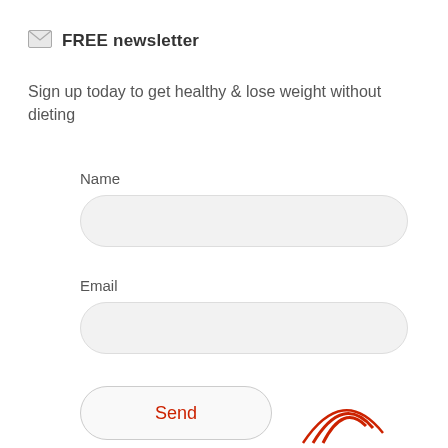FREE newsletter
Sign up today to get healthy & lose weight without dieting
[Figure (infographic): Newsletter signup form with Name field, Email field, and Send button]
[Figure (infographic): Partial red circular icon visible at bottom right]